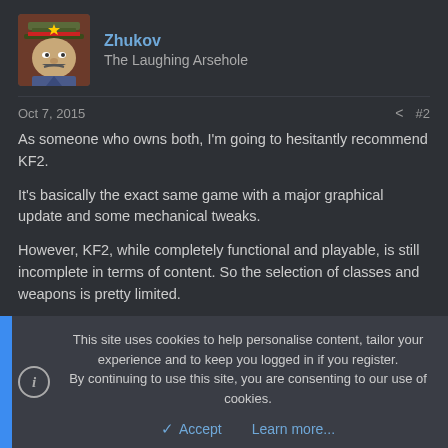[Figure (illustration): User avatar showing a cartoon character wearing a military/Soviet-style hat, with a gruff face, against a dark red/brown background]
Zhukov
The Laughing Arsehole
Oct 7, 2015	< #2
As someone who owns both, I'm going to hesitantly recommend KF2.

It's basically the exact same game with a major graphical update and some mechanical tweaks.

However, KF2, while completely functional and playable, is still incomplete in terms of content. So the selection of classes and weapons is pretty limited.

It's worth noting that KF1 often goes on sale for like $2.50. So waiting for a sale and picking it up dirt cheap is always an option. Then if you liked it
This site uses cookies to help personalise content, tailor your experience and to keep you logged in if you register.
By continuing to use this site, you are consenting to our use of cookies.
Accept	Learn more...